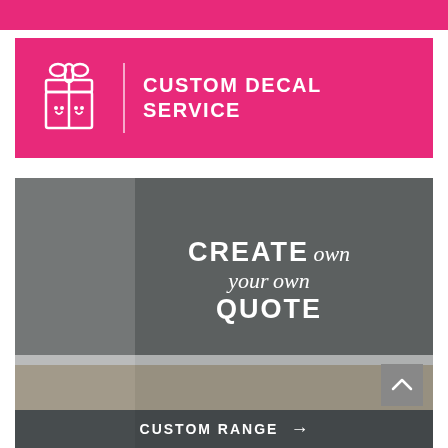[Figure (other): Pink/hot-pink top banner strip]
[Figure (infographic): Hot pink banner with gift box icon, vertical divider, and bold white uppercase text 'CUSTOM DECAL SERVICE']
[Figure (photo): Room photo with dark grey wall, white bookshelf, white armchair, lamp, and large white wall decal text reading 'CREATE your own QUOTE'. Bottom overlay bar reads 'CUSTOM RANGE' with right arrow. A grey scroll-up button is visible at bottom right.]